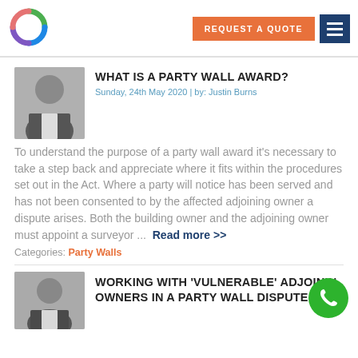[Figure (logo): Company logo with colorful circular arc design]
REQUEST A QUOTE
WHAT IS A PARTY WALL AWARD?
Sunday, 24th May 2020 | by: Justin Burns
[Figure (photo): Headshot of a man in a suit jacket and white shirt]
To understand the purpose of a party wall award it's necessary to take a step back and appreciate where it fits within the procedures set out in the Act. Where a party will notice has been served and has not been consented to by the affected adjoining owner a dispute arises. Both the building owner and the adjoining owner must appoint a surveyor ...  Read more >>
Categories: Party Walls
WORKING WITH 'VULNERABLE' ADJOINING OWNERS IN A PARTY WALL DISPUTE
[Figure (photo): Headshot of a bald man]